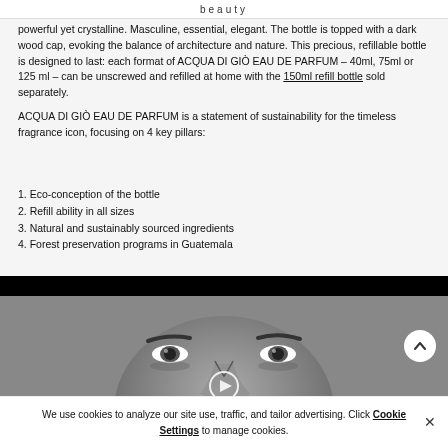beauty
powerful yet crystalline. Masculine, essential, elegant. The bottle is topped with a dark wood cap, evoking the balance of architecture and nature. This precious, refillable bottle is designed to last: each format of ACQUA DI GIÒ EAU DE PARFUM – 40ml, 75ml or 125 ml – can be unscrewed and refilled at home with the 150ml refill bottle sold separately.
ACQUA DI GIÒ EAU DE PARFUM is a statement of sustainability for the timeless fragrance icon, focusing on 4 key pillars:
1. Eco-conception of the bottle
2. Refill ability in all sizes
3. Natural and sustainably sourced ingredients
4. Forest preservation programs in Guatemala
[Figure (photo): Black and white close-up photo of a man's face (eyes, nose) with a circular play button overlay in the center]
We use cookies to analyze our site use, traffic, and tailor advertising. Click Cookie Settings to manage cookies.